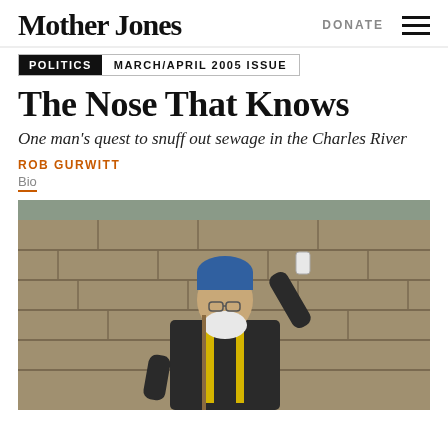Mother Jones
DONATE
POLITICS  MARCH/APRIL 2005 ISSUE
The Nose That Knows
One man's quest to snuff out sewage in the Charles River
ROB GURWITT
Bio
[Figure (photo): An elderly man with a white beard and blue knit hat holds up a small sample container outdoors against a stone wall background, wearing a dark jacket with yellow straps.]